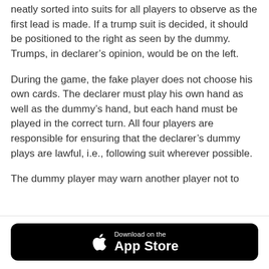neatly sorted into suits for all players to observe as the first lead is made. If a trump suit is decided, it should be positioned to the right as seen by the dummy. Trumps, in declarer's opinion, would be on the left.
During the game, the fake player does not choose his own cards. The declarer must play his own hand as well as the dummy's hand, but each hand must be played in the correct turn. All four players are responsible for ensuring that the declarer's dummy plays are lawful, i.e., following suit wherever possible.
The dummy player may warn another player not to
[Figure (other): Download on the App Store button with Apple logo on black rounded rectangle background]